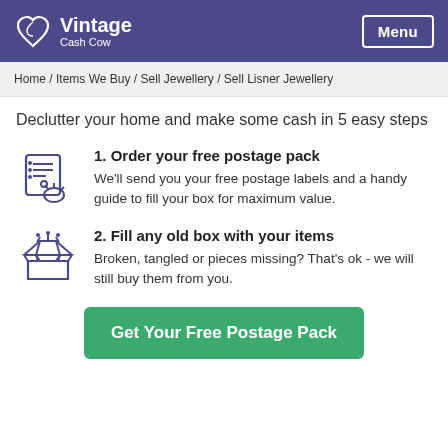Vintage Cash Cow | Menu
Home / Items We Buy / Sell Jewellery / Sell Lisner Jewellery
Declutter your home and make some cash in 5 easy steps
1. Order your free postage pack
We'll send you your free postage labels and a handy guide to fill your box for maximum value.
2. Fill any old box with your items
Broken, tangled or pieces missing? That's ok - we will still buy them from you.
Get Your Free Postage Pack